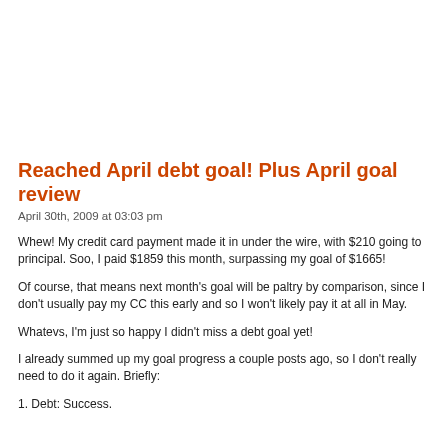Reached April debt goal! Plus April goal review
April 30th, 2009 at 03:03 pm
Whew! My credit card payment made it in under the wire, with $210 going to principal. Soo, I paid $1859 this month, surpassing my goal of $1665!
Of course, that means next month's goal will be paltry by comparison, since I don't usually pay my CC this early and so I won't likely pay it at all in May.
Whatevs, I'm just so happy I didn't miss a debt goal yet!
I already summed up my goal progress a couple posts ago, so I don't really need to do it again. Briefly:
1. Debt: Success.